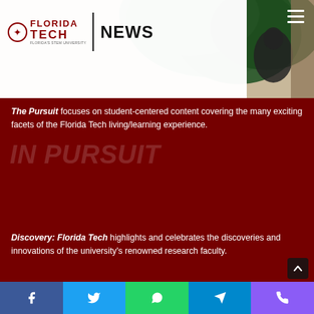[Figure (photo): Florida Tech News website screenshot showing logo with palm/statue background, navigation header]
FLORIDA TECH | NEWS
The Pursuit focuses on student-centered content covering the many exciting facets of the Florida Tech living/learning experience.
IN PURSUIT
Discovery: Florida Tech highlights and celebrates the discoveries and innovations of the university's renowned research faculty.